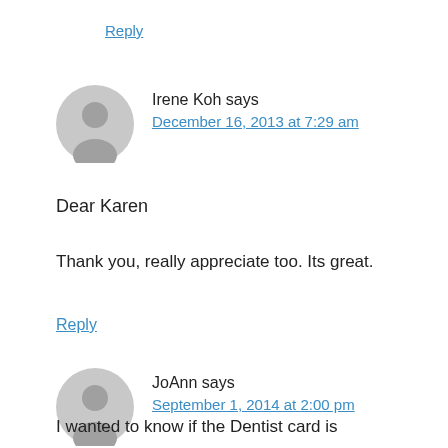Reply
Irene Koh says
December 16, 2013 at 7:29 am
Dear Karen
Thank you, really appreciate too. Its great.
Reply
JoAnn says
September 1, 2014 at 2:00 pm
I wanted to know if the Dentist card is